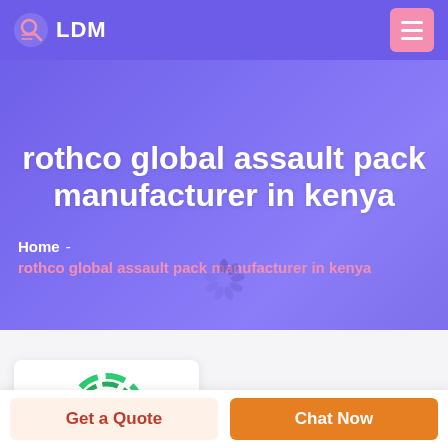LDM
rothco global assault pack manufacturer in kenya
Home - rothco global assault pack manufacturer in kenya
[Figure (logo): DEEKON company logo — circular target-like emblem in green and red, with letter D in center, company name DEEKON below in red bold letters]
Get a Quote
Chat Now